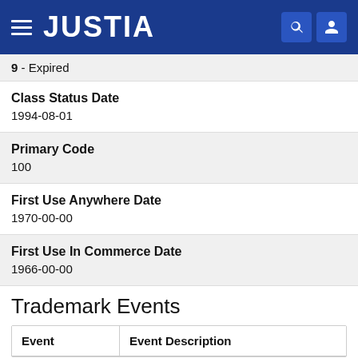JUSTIA
9 - Expired
Class Status Date
1994-08-01
Primary Code
100
First Use Anywhere Date
1970-00-00
First Use In Commerce Date
1966-00-00
Trademark Events
| Event | Event Description |
| --- | --- |